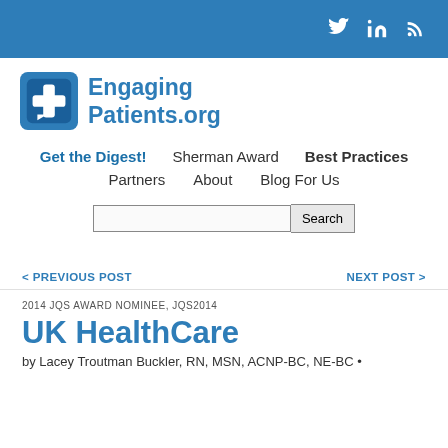EngagingPatients.org — social media icons (Twitter, LinkedIn, RSS)
[Figure (logo): EngagingPatients.org logo with blue cross icon and text]
Get the Digest!   Sherman Award   Best Practices
Partners   About   Blog For Us
Search
< PREVIOUS POST    NEXT POST >
2014 JQS AWARD NOMINEE, JQS2014
UK HealthCare
by Lacey Troutman Buckler, RN, MSN, ACNP-BC, NE-BC •